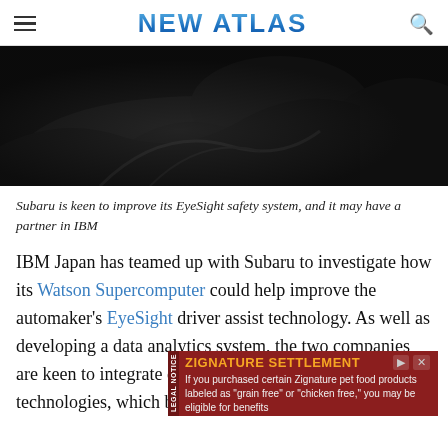NEW ATLAS
[Figure (photo): Dark hero image showing close-up of car interior or exterior detail in low-key lighting, predominantly black/dark gray]
Subaru is keen to improve its EyeSight safety system, and it may have a partner in IBM
IBM Japan has teamed up with Subaru to investigate how its Watson Supercomputer could help improve the automaker's EyeSight driver assist technology. As well as developing a data analytics system, the two companies are keen to integrate cloud and artificial intelligence technologies, which bodes well for th... netwo...